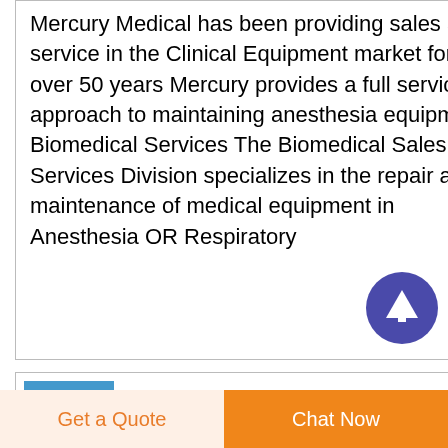Mercury Medical has been providing sales and service in the Clinical Equipment market for over 50 years Mercury provides a full service approach to maintaining anesthesia equipment Biomedical Services The Biomedical Sales and Services Division specializes in the repair and maintenance of medical equipment in Anesthesia OR Respiratory
[Figure (other): Circular dark blue/purple scroll-to-top button with white upward arrow icon]
[Figure (illustration): Blue square icon with white medical/nasal cannula graphic]
Nasal
CannulaInspired
Get a Quote
Chat Now